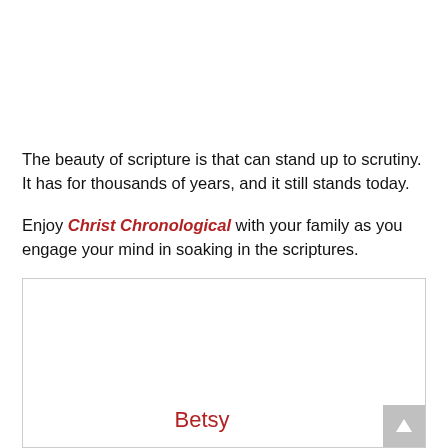The beauty of scripture is that can stand up to scrutiny. It has for thousands of years, and it still stands today.

Enjoy Christ Chronological with your family as you engage your mind in soaking in the scriptures.
[Figure (other): A framed white box containing the name 'Betsy' in red text at the bottom center, with a scroll-to-top button in the lower right corner.]